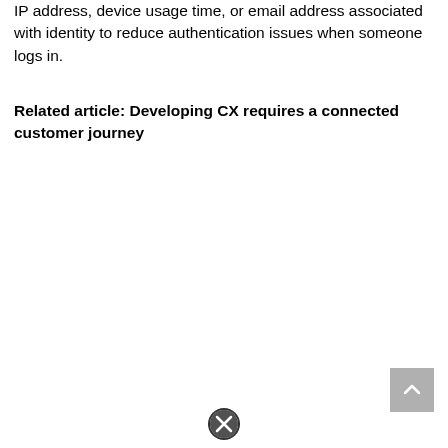IP address, device usage time, or email address associated with identity to reduce authentication issues when someone logs in.
Related article: Developing CX requires a connected customer journey